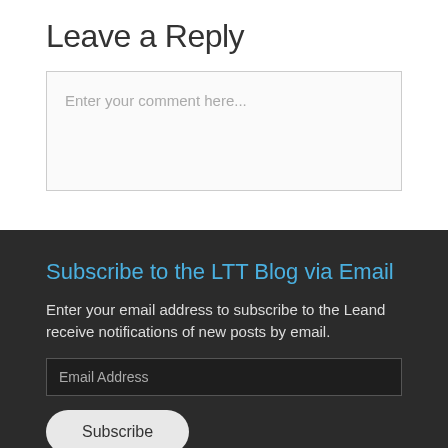Leave a Reply
Enter your comment here...
Subscribe to the LTT Blog via Email
Enter your email address to subscribe to the Leand receive notifications of new posts by email.
Email Address
Subscribe